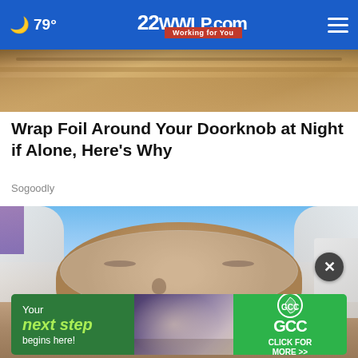☁ 79° | 22WWLP.com News Working for You
[Figure (photo): Partial top view of a wooden ceiling or door, warm brown tones]
Wrap Foil Around Your Doorknob at Night if Alone, Here's Why
Sogoodly
[Figure (photo): Close-up of a person's face wrapped in foil or a white towel, eyes closed, against a blue sky background]
[Figure (infographic): Advertisement banner: 'Your next step begins here!' GCC Click for More >>]